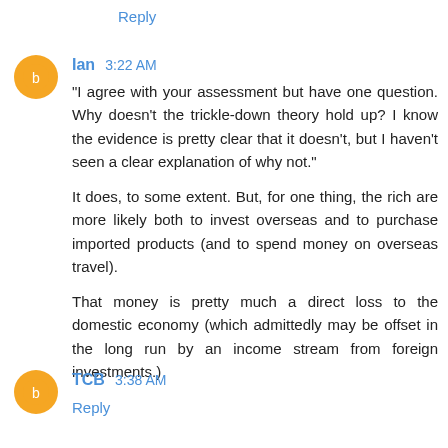Reply
Ian 3:22 AM
"I agree with your assessment but have one question. Why doesn't the trickle-down theory hold up? I know the evidence is pretty clear that it doesn't, but I haven't seen a clear explanation of why not."
It does, to some extent. But, for one thing, the rich are more likely both to invest overseas and to purchase imported products (and to spend money on overseas travel).
That money is pretty much a direct loss to the domestic economy (which admittedly may be offset in the long run by an income stream from foreign investments.)
Reply
TCB 3:38 AM